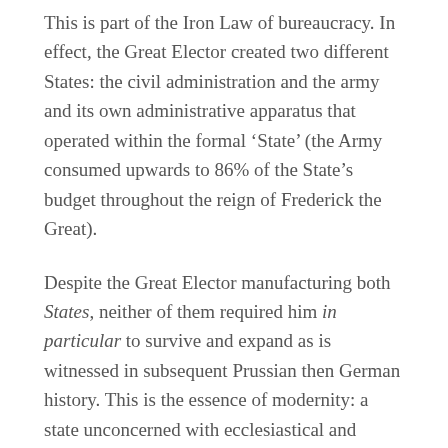This is part of the Iron Law of bureaucracy. In effect, the Great Elector created two different States: the civil administration and the army and its own administrative apparatus that operated within the formal ‘State’ (the Army consumed upwards to 86% of the State’s budget throughout the reign of Frederick the Great).
Despite the Great Elector manufacturing both States, neither of them required him in particular to survive and expand as is witnessed in subsequent Prussian then German history. This is the essence of modernity: a state unconcerned with ecclesiastical and hereditary affairs, concerned with only its own perpetuation, in leveling all institutions below it, all the while happening within the milieu of European